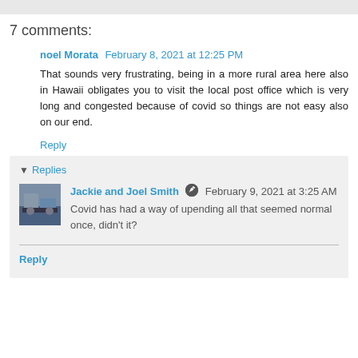7 comments:
noel Morata  February 8, 2021 at 12:25 PM
That sounds very frustrating, being in a more rural area here also in Hawaii obligates you to visit the local post office which is very long and congested because of covid so things are not easy also on our end.
Reply
Replies
Jackie and Joel Smith  February 9, 2021 at 3:25 AM
Covid has had a way of upending all that seemed normal once, didn't it?
Reply